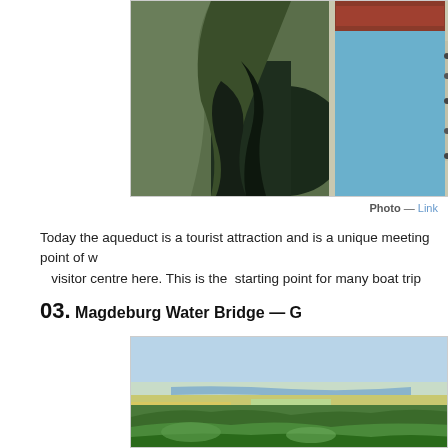[Figure (photo): Aerial view of an aqueduct with water rushing between rocky cliffs on the left and a boat in a canal lock on the right with people visible on walkways]
Photo — Link
Today the aqueduct is a tourist attraction and is a unique meeting point of w... visitor centre here. This is the starting point for many boat trip...
03. Magdeburg Water Bridge — G
[Figure (photo): Aerial photograph of the Magdeburg Water Bridge area showing a wide river valley with green fields, forests, and the river winding through the landscape]